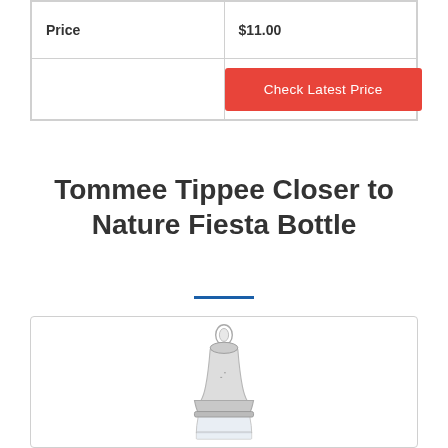| Price | $11.00 |
| --- | --- |
|  | Check Latest Price |
Tommee Tippee Closer to Nature Fiesta Bottle
[Figure (photo): A clear silicone baby bottle nipple/teat for Tommee Tippee Closer to Nature Fiesta Bottle, shown on top of a bottle base]